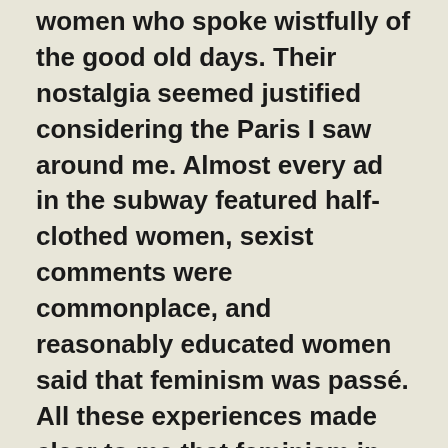women who spoke wistfully of the good old days. Their nostalgia seemed justified considering the Paris I saw around me. Almost every ad in the subway featured half-clothed women, sexist comments were commonplace, and reasonably educated women said that feminism was passé. All these experiences made clear to me that feminism in France, past and present, was different.
But it was different in ways I hadn't expected — to wit: fewer women were complaining about access to childcare because there was a solid network of state-sponsored nurseries. And